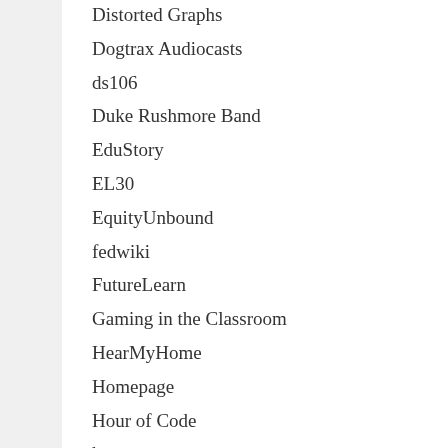Distorted Graphs
Dogtrax Audiocasts
ds106
Duke Rushmore Band
EduStory
EL30
EquityUnbound
fedwiki
FutureLearn
Gaming in the Classroom
HearMyHome
Homepage
Hour of Code
humor
IlluminatedAlphabet
Innovator Mindset MOOC